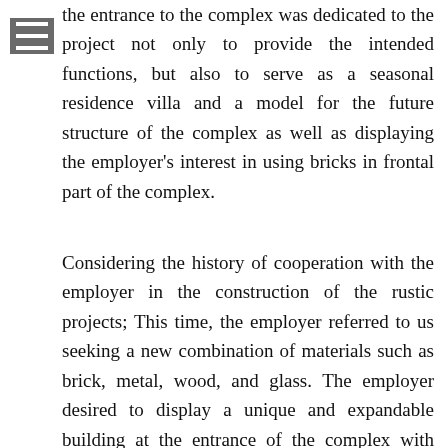the entrance to the complex was dedicated to the project not only to provide the intended functions, but also to serve as a seasonal residence villa and a model for the future structure of the complex as well as displaying the employer's interest in using bricks in frontal part of the complex.
Considering the history of cooperation with the employer in the construction of the rustic projects; This time, the employer referred to us seeking a new combination of materials such as brick, metal, wood, and glass. The employer desired to display a unique and expandable building at the entrance of the complex with pieces of materials such as brick. At first, the main stain of the building was created by separating private and public functions with a bridge which interconnected them, and by inserting voids in